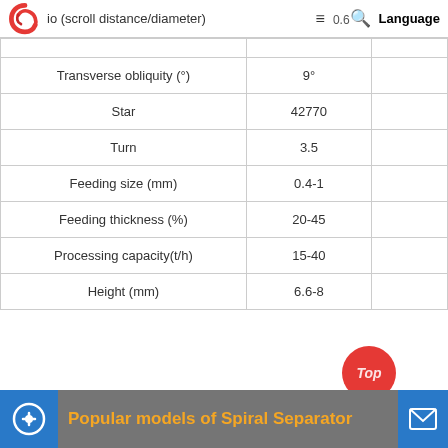io (scroll distance/diameter) | ≡ 0.6 🔍 Language
|  |  |  |
| --- | --- | --- |
| io (scroll distance/diameter) | 0.6 |  |
| Transverse obliquity (°) | 9° |  |
| Star | 42770 |  |
| Turn | 3.5 |  |
| Feeding size (mm) | 0.4-1 |  |
| Feeding thickness (%) | 20-45 |  |
| Processing capacity(t/h) | 15-40 |  |
| Height (mm) | 6.6-8 |  |
Popular models of Spiral Separator